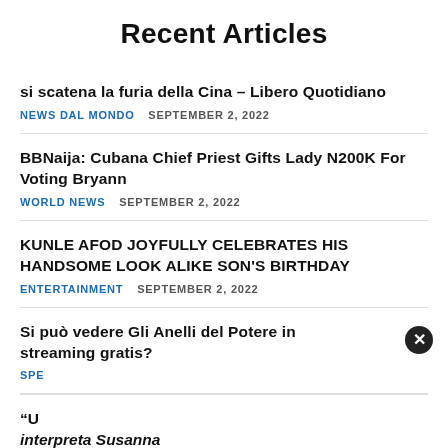Recent Articles
si scatena la furia della Cina – Libero Quotidiano
NEWS DAL MONDO   SEPTEMBER 2, 2022
BBNaija: Cubana Chief Priest Gifts Lady N200K For Voting Bryann
WORLD NEWS   SEPTEMBER 2, 2022
KUNLE AFOD JOYFULLY CELEBRATES HIS HANDSOME LOOK ALIKE SON'S BIRTHDAY
ENTERTAINMENT   SEPTEMBER 2, 2022
Si può vedere Gli Anelli del Potere in streaming gratis?
SPE
“U
interpreta Susanna